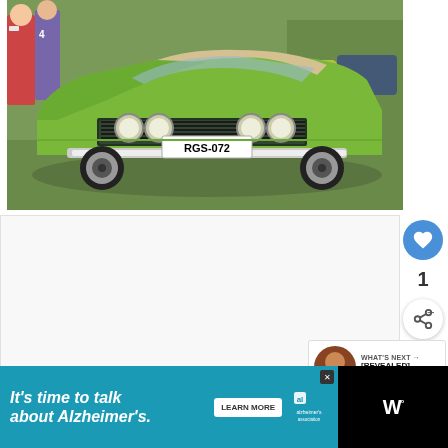[Figure (photo): Green classic Australian muscle car (Ford Falcon XA?) with license plate RGS-072, parked on grass at a car show. People visible in background. Front-facing shot showing quad headlights and chrome grille.]
[Figure (other): UI panel: heart/like button (blue circle), count of 1, share button (white circle with share icon)]
[Figure (other): What's Next widget showing thumbnail and text: [REVEALED] All Cars Tha...]
[Figure (other): Advertisement banner: It's time to talk about Alzheimer's. LEARN MORE. Alzheimer's Association logo. Black background with teal ad area.]